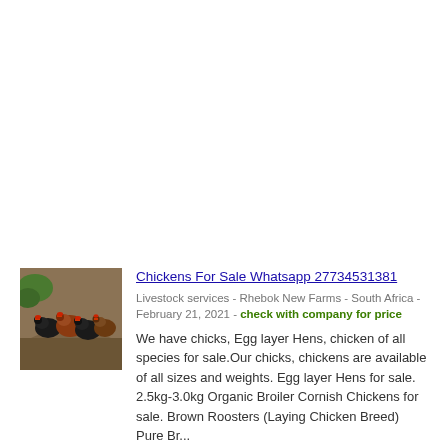[Figure (photo): Thumbnail photo of chickens/hens on the ground, viewed from above]
Chickens For Sale Whatsapp 27734531381
Livestock services - Rhebok New Farms - South Africa - February 21, 2021 - check with company for price
We have chicks, Egg layer Hens, chicken of all species for sale.Our chicks, chickens are available of all sizes and weights. Egg layer Hens for sale. 2.5kg-3.0kg Organic Broiler Cornish Chickens for sale. Brown Roosters (Laying Chicken Breed) Pure Br...